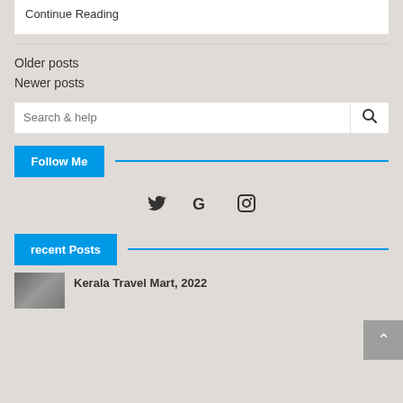Continue Reading
Older posts
Newer posts
Search & help
Follow Me
[Figure (infographic): Social media icons: Twitter bird, Google G, Instagram camera]
recent Posts
Kerala Travel Mart, 2022